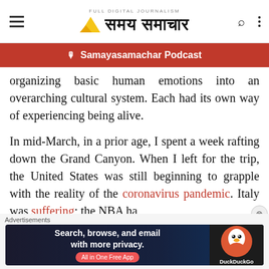समय समाचार — Full Digital Journalism
Samayasamachar Podcast
organizing basic human emotions into an overarching cultural system. Each had its own way of experiencing being alive.
In mid-March, in a prior age, I spent a week rafting down the Grand Canyon. When I left for the trip, the United States was still beginning to grapple with the reality of the coronavirus pandemic. Italy was suffering; the NBA ha
Advertisements
[Figure (other): DuckDuckGo advertisement banner: 'Search, browse, and email with more privacy. All in One Free App']